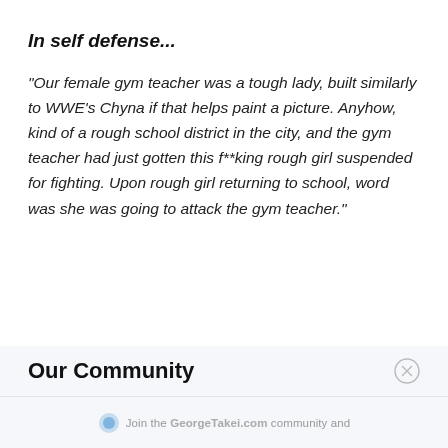In self defense...
"Our female gym teacher was a tough lady, built similarly to WWE's Chyna if that helps paint a picture. Anyhow, kind of a rough school district in the city, and the gym teacher had just gotten this f**king rough girl suspended for fighting. Upon rough girl returning to school, word was she was going to attack the gym teacher."
Our Community
Join the GeorgeTakei.com community and